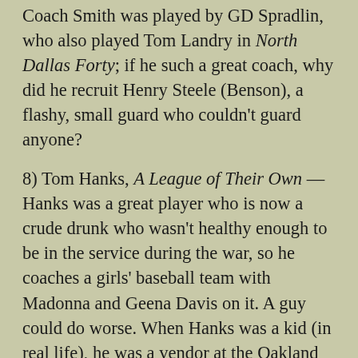Coach Smith was played by GD Spradlin, who also played Tom Landry in North Dallas Forty; if he such a great coach, why did he recruit Henry Steele (Benson), a flashy, small guard who couldn't guard anyone?
8) Tom Hanks, A League of Their Own — Hanks was a great player who is now a crude drunk who wasn't healthy enough to be in the service during the war, so he coaches a girls' baseball team with Madonna and Geena Davis on it. A guy could do worse. When Hanks was a kid (in real life), he was a vendor at the Oakland Coliseum; this was a pretty good movie, but my friend Dennis kills me every time I say that.
7) Wilford Brimley, The Natural — Pop Fisher is